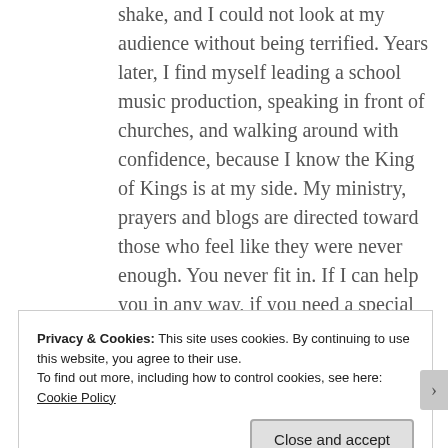shake, and I could not look at my audience without being terrified. Years later, I find myself leading a school music production, speaking in front of churches, and walking around with confidence, because I know the King of Kings is at my side. My ministry, prayers and blogs are directed toward those who feel like they were never enough. You never fit in. If I can help you in any way, if you need a special speaker to speak
Privacy & Cookies: This site uses cookies. By continuing to use this website, you agree to their use.
To find out more, including how to control cookies, see here: Cookie Policy
Close and accept